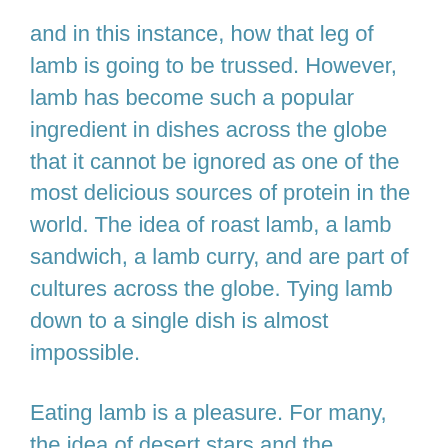and in this instance, how that leg of lamb is going to be trussed. However, lamb has become such a popular ingredient in dishes across the globe that it cannot be ignored as one of the most delicious sources of protein in the world. The idea of roast lamb, a lamb sandwich, a lamb curry, and are part of cultures across the globe. Tying lamb down to a single dish is almost impossible.
Eating lamb is a pleasure. For many, the idea of desert stars and the approaching cold of the night when a lamb is baked over an open flame is the most wonderful and welcoming treatment of this wonderful meat. For others, a slow-cooked